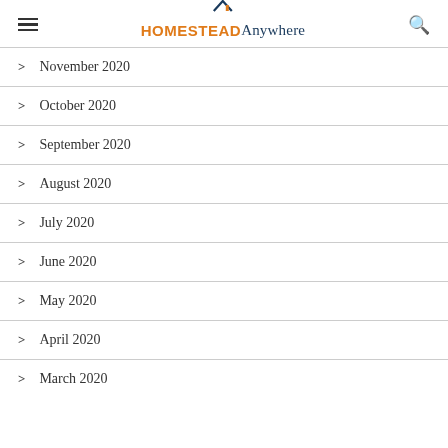HOMESTEAD Anywhere
November 2020
October 2020
September 2020
August 2020
July 2020
June 2020
May 2020
April 2020
March 2020